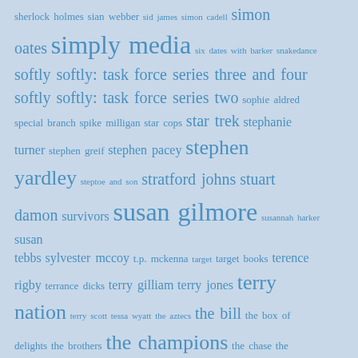sherlock holmes sian webber sid james simon cadell simon oates simply media six dates with barker snakedance softly softly: task force series three and four softly softly: task force series two sophie aldred special branch spike milligan star cops star trek stephanie turner stephen greif stephen pacey stephen yardley steptoe and son stratford johns stuart damon survivors susan gilmore susannah harker susan tebbs sylvester mccoy t.p. mckenna target target books terence rigby terrance dicks terry gilliam terry jones terry nation terry scott tessa wyatt the aztecs the bill the box of delights the brothers the champions the chase the cleopatras the crusade the dalek invasion of earth the daleks the daleks' master plan the day of the triffids the enemy of the world the feathered serpent the galton and simpson playhouse the glory boys the good life the keys of marinus the legend of robin hood the main chance the massacre the morecambe and wise show the morcambe show the myth makers the nightmare man the outermost...